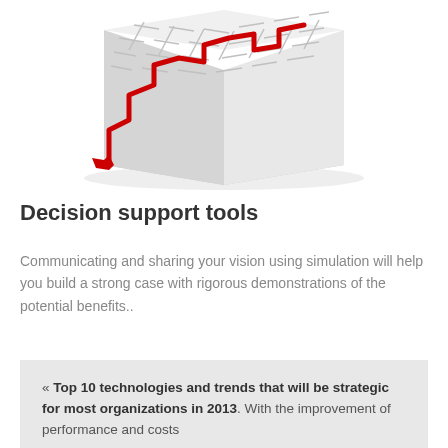[Figure (photo): 3D white maze with a red path traced through it, viewed from an angle above]
Decision support tools
Communicating and sharing your vision using simulation will help you build a strong case with rigorous demonstrations of the potential benefits..
« Top 10 technologies and trends that will be strategic for most organizations in 2013. With the improvement of performance and costs